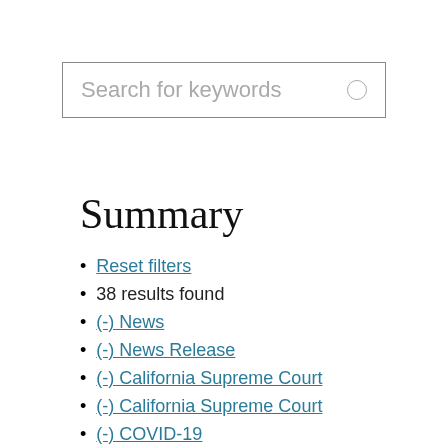[Figure (other): Search bar with placeholder text 'Search for keywords' and a circle icon on the right]
Summary
Reset filters
38 results found
(-) News
(-) News Release
(-) California Supreme Court
(-) California Supreme Court
(-) COVID-19